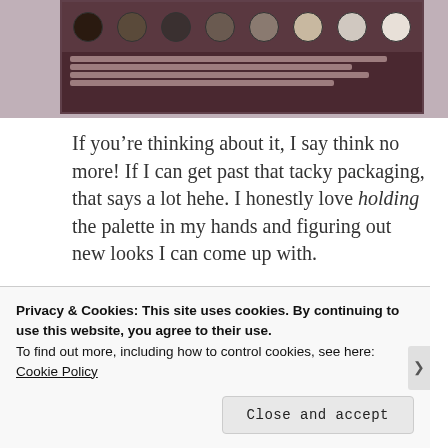[Figure (photo): Product image of a Too Faced eyeshadow palette with dark chocolate-themed packaging, showing eyeshadow swatches at the top and text/ingredient information at the bottom. A label/tab is visible on the left side.]
If you’re thinking about it, I say think no more! If I can get past that tacky packaging, that says a lot hehe. I honestly love holding the palette in my hands and figuring out new looks I can come up with.
What are your thoughts on this palette? On scented eyeshadows? :)
Too Faced is available at Sephora and direct from their website
Privacy & Cookies: This site uses cookies. By continuing to use this website, you agree to their use.
To find out more, including how to control cookies, see here: Cookie Policy
Close and accept